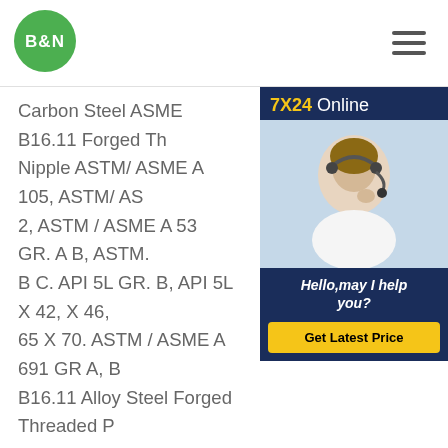[Figure (logo): B&N company logo — green circle with white B&N text]
Carbon Steel ASME B16.11 Forged Threaded Pipe Nipple ASTM/ ASME A 105, ASTM/ AS...2, ASTM / ASME A 53 GR. A B, ASTM...B C. API 5L GR. B, API 5L X 42, X 46,...65 X 70. ASTM / ASME A 691 GR A, B...B16.11 Alloy Steel Forged Threaded P...Threaded Pipe Nipples dimensions Ga...Carbon Steel Pipe Nipple DimensionsCarbon Steel Threaded Fittings. 1/2 Threaded Pipe Nipples are manufactured by high quality carbon steels with a galvanized finish, also available in extensive range of dimensions. Pipe Nipples are a short piece of pipe
[Figure (photo): 7X24 Online customer service widget showing a woman with a headset, with Hello,may I help you? text and Get Latest Price button]